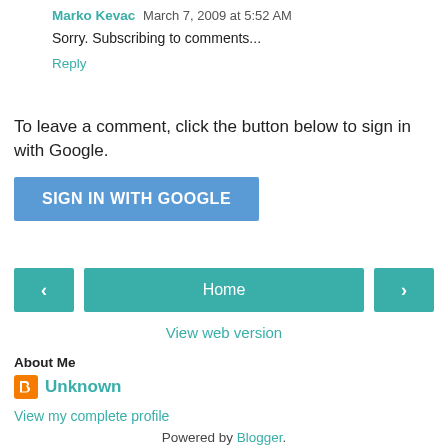Marko Kevac  March 7, 2009 at 5:52 AM
Sorry. Subscribing to comments...
Reply
To leave a comment, click the button below to sign in with Google.
SIGN IN WITH GOOGLE
Home
View web version
About Me
Unknown
View my complete profile
Powered by Blogger.